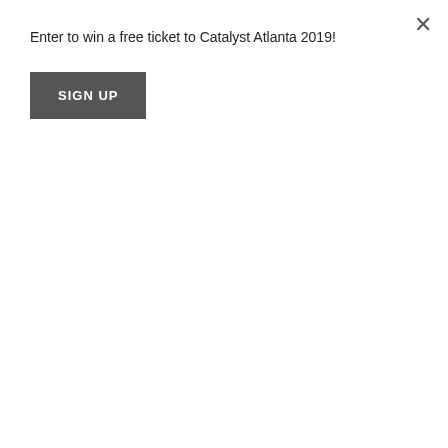Enter to win a free ticket to Catalyst Atlanta 2019!
SIGN UP
but avoid self-blame and the shame that comes with it. Too often we fall prey to a false version of faith that correlates suffering with mistakes, poor choices, or personal sin. We do live in a world governed largely by the law of cause and effect, but Jesus refutes the notion that suffering is axiomatic proof of a badly lived life. For example, in Jesus's day, a tower fell and killed eighteen people. People apparently drew the conclusion that those eighteen were "worse offenders than all the others who lived in Jerusalem." But Jesus emphatically repudiated that idea and the logic behind it. (Luke 13:4-5, ESV)
Third, make suffering your teacher. While we may not understand why we go through seasons of suffering, we can allow them to shape our lives. God is very near during